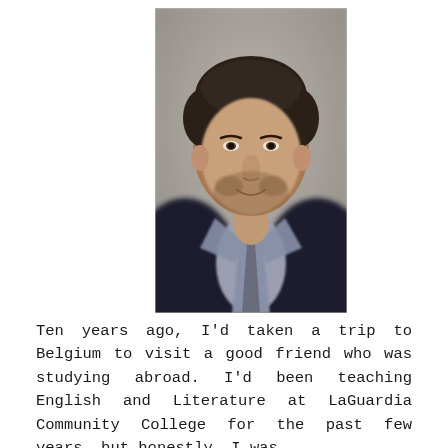[Figure (photo): Portrait photo of a man with short dark hair and beard, wearing a dark blazer over a light collared shirt, set against a neutral gray background. The image is slightly blurred/bokeh effect.]
Ten years ago, I'd taken a trip to Belgium to visit a good friend who was studying abroad. I'd been teaching English and Literature at LaGuardia Community College for the past few years, but honestly, I was